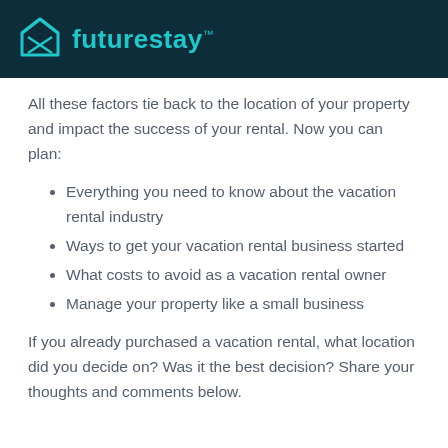futurestay™
All these factors tie back to the location of your property and impact the success of your rental. Now you can plan:
Everything you need to know about the vacation rental industry
Ways to get your vacation rental business started
What costs to avoid as a vacation rental owner
Manage your property like a small business
If you already purchased a vacation rental, what location did you decide on? Was it the best decision? Share your thoughts and comments below.